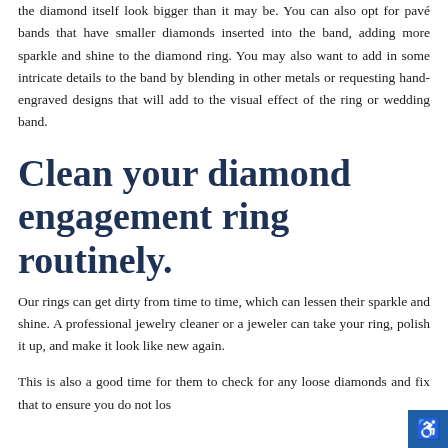the diamond itself look bigger than it may be. You can also opt for pavé bands that have smaller diamonds inserted into the band, adding more sparkle and shine to the diamond ring. You may also want to add in some intricate details to the band by blending in other metals or requesting hand-engraved designs that will add to the visual effect of the ring or wedding band.
Clean your diamond engagement ring routinely.
Our rings can get dirty from time to time, which can lessen their sparkle and shine. A professional jewelry cleaner or a jeweler can take your ring, polish it up, and make it look like new again.
This is also a good time for them to check for any loose diamonds and fix that to ensure you do not los